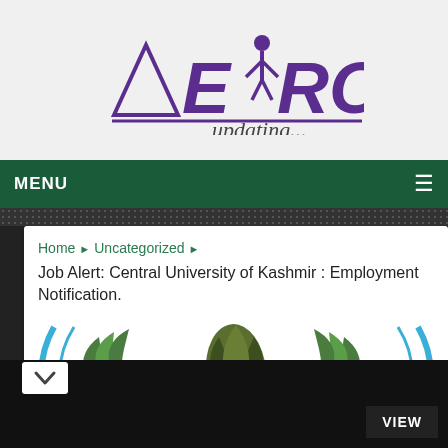[Figure (logo): AERO updating... logo with purple stylized text and figure icon]
MENU ≡
Home ▶ Uncategorized ▶
Job Alert: Central University of Kashmir : Employment Notification.
[Figure (logo): Central University of Kashmir logo with laurel wreath and leaf emblem, partially visible]
VIEW